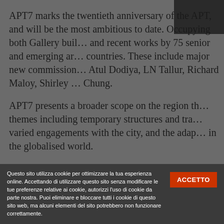APT7 marks the twentieth anniversary of the APT, and will be the most ambitious to date. Occupying both Gallery buil… and recent works by 75 senior and emerging ar… countries. These include major new commission… Atul Dodiya, LN Tallur, Richard Maloy, Shirley … Chung.
APT7 presents a broader scope on the region th… themes including temporary structures and tra… varied engagements with the city, and the adap… in the globalised world.
Major groups of works by younger-generation a… Vietnam reflect the exciting scenes emerging i… diversity and depth of Australian Aboriginal ar… of five artists, representing some of the most d… Australian art today.
Questo sito utilizza cookie per ottimizzare la tua esperienza online. Accettando di utilizzare questo sito senza modificare le tue preferenze relative ai cookie, autorizzi l'uso di cookie da parte nostra. Puoi eliminare e bloccare tutti i cookie di questo sito web, ma alcuni elementi del sito potrebbero non funzionare correttamente.